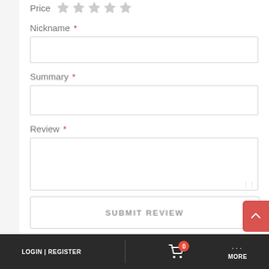Price
[Figure (illustration): Five gray star rating icons for Price field]
Nickname *
[Figure (screenshot): Empty text input field for Nickname]
Summary *
[Figure (screenshot): Empty text input field for Summary]
Review *
[Figure (screenshot): Empty textarea input field for Review]
SUBMIT REVIEW
LOGIN | REGISTER   0   MORE